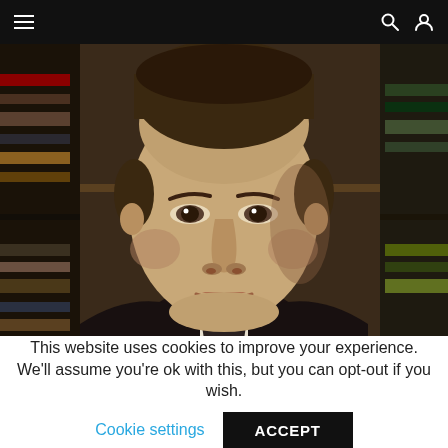Navigation bar with menu, search and user icons
[Figure (photo): Close-up portrait photo of a man in a dark suit and white shirt, with a bookshelf visible in the background]
This website uses cookies to improve your experience. We'll assume you're ok with this, but you can opt-out if you wish.
Cookie settings   ACCEPT